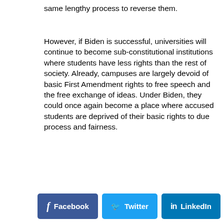same lengthy process to reverse them.
However, if Biden is successful, universities will continue to become sub-constitutional institutions where students have less rights than the rest of society. Already, campuses are largely devoid of basic First Amendment rights to free speech and the free exchange of ideas. Under Biden, they could once again become a place where accused students are deprived of their basic rights to due process and fairness.
[Figure (infographic): Social sharing buttons for Facebook, Twitter, and LinkedIn]